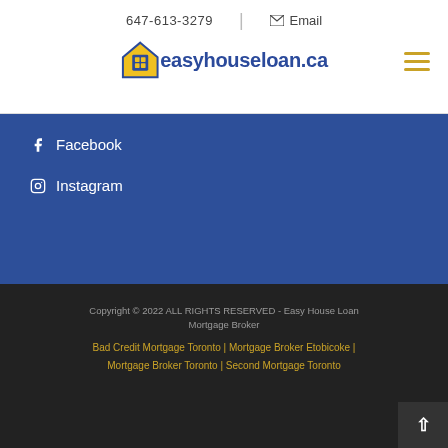647-613-3279 | Email
[Figure (logo): easyhouseloan.ca logo with house icon in yellow and blue text]
Facebook
Instagram
Copyright © 2022 ALL RIGHTS RESERVED - Easy House Loan Mortgage Broker
Bad Credit Mortgage Toronto | Mortgage Broker Etobicoke | Mortgage Broker Toronto | Second Mortgage Toronto